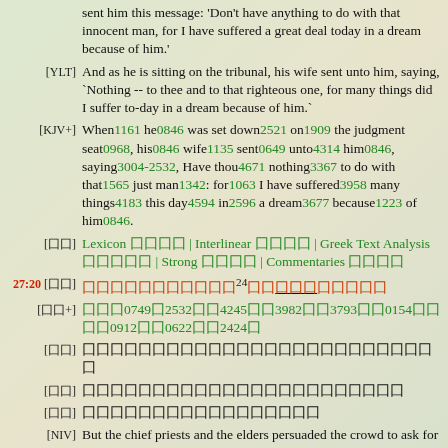sent him this message: 'Don't have anything to do with that innocent man, for I have suffered a great deal today in a dream because of him.'
[YLT] And as he is sitting on the tribunal, his wife sent unto him, saying, `Nothing -- to thee and to that righteous one, for many things did I suffer to-day in a dream because of him.`
[KJV+] When1161 he0846 was set down2521 on1909 the judgment seat0968, his0846 wife1135 sent0649 unto4314 him0846, saying3004-2532, Have thou4671 nothing3367 to do with that1565 just man1342: for1063 I have suffered3958 many things4183 this day4594 in2596 a dream3677 because1223 of him0846.
[囗囗] Lexicon 囗囗囗囗 | Interlinear 囗囗囗囗 | Greek Text Analysis 囗囗囗囗囗 | Strong 囗囗囗囗 | Commentaries 囗囗囗囗
27:20 [囗囗] 囗囗囗囗囗囗囗囗囗囗囗24囗囗囗囗囗囗囗囗
[囗囗+] 囗囗囗07490253200424500398200379300015400000912000622002424囗
[囗囗] 囗囗囗囗囗囗囗囗囗囗囗囗囗囗囗囗囗囗囗囗囗囗囗囗囗囗
[囗囗] 囗囗囗囗囗囗囗囗囗囗囗囗囗囗囗囗囗囗囗囗囗囗囗
[囗囗] 囗囗囗囗囗囗囗囗囗囗囗囗囗囗囗囗囗
[NIV] But the chief priests and the elders persuaded the crowd to ask for Barabbas and to have Jesus...